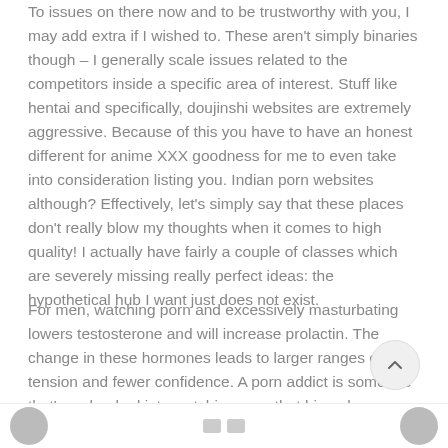To issues on there now and to be trustworthy with you, I may add extra if I wished to. These aren't simply binaries though – I generally scale issues related to the competitors inside a specific area of interest. Stuff like hentai and specifically, doujinshi websites are extremely aggressive. Because of this you have to have an honest different for anime XXX goodness for me to even take into consideration listing you. Indian porn websites although? Effectively, let's simply say that these places don't really blow my thoughts when it comes to high quality! I actually have fairly a couple of classes which are severely missing really perfect ideas: the hypothetical hub I want just does not exist.
For men, watching porn and excessively masturbating lowers testosterone and will increase prolactin. The change in these hormones leads to larger ranges of tension and fewer confidence. A porn addict is someone that's so hooked into watching porn that his or her behavior has began to have negative effects on his private life and even his or her work atmosphere.